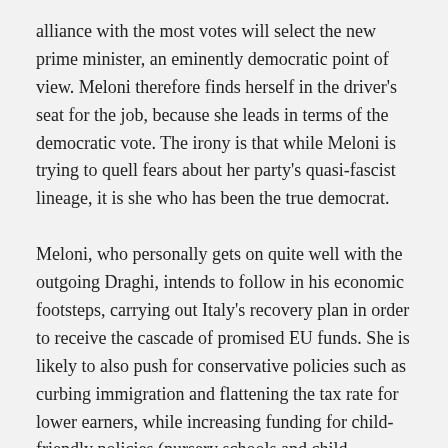alliance with the most votes will select the new prime minister, an eminently democratic point of view. Meloni therefore finds herself in the driver's seat for the job, because she leads in terms of the democratic vote. The irony is that while Meloni is trying to quell fears about her party's quasi-fascist lineage, it is she who has been the true democrat.
Meloni, who personally gets on quite well with the outgoing Draghi, intends to follow in his economic footsteps, carrying out Italy's recovery plan in order to receive the cascade of promised EU funds. She is likely to also push for conservative policies such as curbing immigration and flattening the tax rate for lower earners, while increasing funding for child-friendly policies (nursery schools and child benefits).